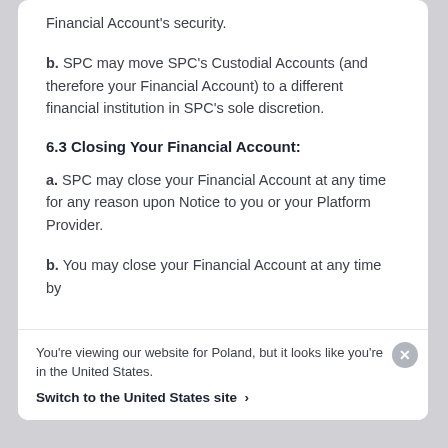Financial Account's security.
b. SPC may move SPC's Custodial Accounts (and therefore your Financial Account) to a different financial institution in SPC's sole discretion.
6.3 Closing Your Financial Account:
a. SPC may close your Financial Account at any time for any reason upon Notice to you or your Platform Provider.
b. You may close your Financial Account at any time by
You're viewing our website for Poland, but it looks like you're in the United States. Switch to the United States site ›